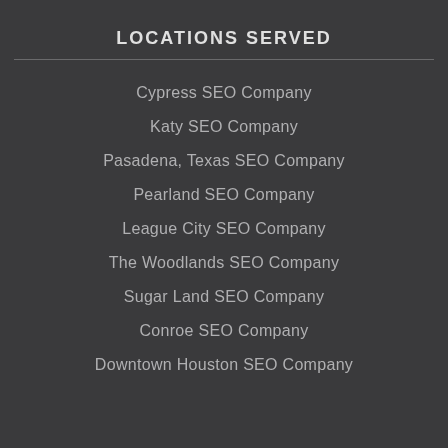LOCATIONS SERVED
Cypress SEO Company
Katy SEO Company
Pasadena, Texas SEO Company
Pearland SEO Company
League City SEO Company
The Woodlands SEO Company
Sugar Land SEO Company
Conroe SEO Company
Downtown Houston SEO Company